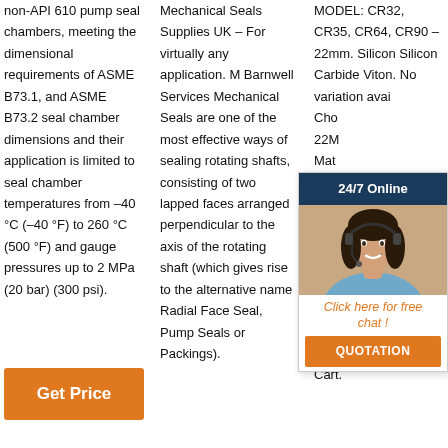non-API 610 pump seal chambers, meeting the dimensional requirements of ASME B73.1, and ASME B73.2 seal chamber dimensions and their application is limited to seal chamber temperatures from –40 °C (–40 °F) to 260 °C (500 °F) and gauge pressures up to 2 MPa (20 bar) (300 psi).
Mechanical Seals Supplies UK – For virtually any application. M Barnwell Services Mechanical Seals are one of the most effective ways of sealing rotating shafts, consisting of two lapped faces arranged perpendicular to the axis of the rotating shaft (which gives rise to the alternative name Radial Face Seal, Pump Seals or Packings).
MODEL: CR32, CR35, CR64, CR90 – 22mm. Silicon Silicon Carbide Viton. No variation available. Choose 22MM Seal Material options: SILICON CARBIDE / GRAPHITE CARBON / CARBON EPDM Clear. Grundfos® CR SERIES PUMP SEAL KIT Grundfos- S706H Type quantity add to Cart.
[Figure (illustration): Chat widget overlay with dark navy header '24/7 Online', photo of woman with headset, orange italic text 'Click here for free chat !', and orange QUOTATION button]
[Figure (other): Orange 'Get Price' button at bottom left]